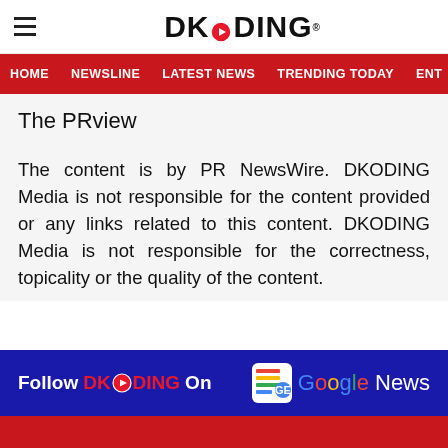DKODING
HOME   NEWSLINE   LATEST NEWS   TRENDING TODAY   ENT
The PRview
The content is by PR NewsWire. DKODING Media is not responsible for the content provided or any links related to this content. DKODING Media is not responsible for the correctness, topicality or the quality of the content.
Follow DKODING On   Google News